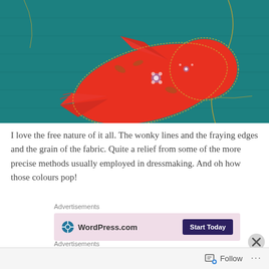[Figure (photo): Close-up photograph of a red floral fabric bird appliqué stitched onto a teal/blue fabric background. The red bird shape has small floral prints and frayed edges with visible stitching in gold thread.]
I love the free nature of it all. The wonky lines and the fraying edges and the grain of the fabric. Quite a relief from some of the more precise methods usually employed in dressmaking. And oh how those colours pop!
Advertisements
[Figure (screenshot): WordPress.com advertisement banner with pink/mauve background showing WordPress logo and 'WordPress.com' text on left and a dark purple 'Start Today' button on right.]
Advertisements
[Figure (screenshot): Pocket Casts advertisement showing dark device screenshots on left, bold text 'Your next favorite' in center, and Pocket Casts logo on right.]